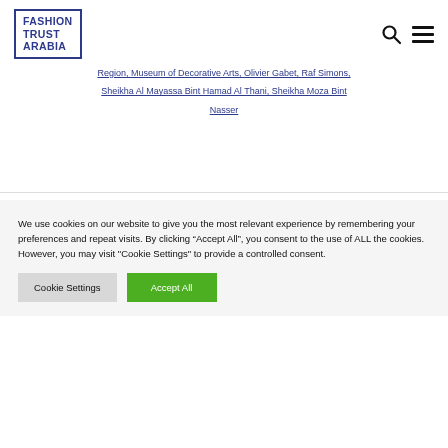FASHION TRUST ARABIA [logo + nav icons]
Region, Museum of Decorative Arts, Olivier Gabet, Raf Simons, Sheikha Al Mayassa Bint Hamad Al Thani, Sheikha Moza Bint Nasser
We use cookies on our website to give you the most relevant experience by remembering your preferences and repeat visits. By clicking “Accept All”, you consent to the use of ALL the cookies. However, you may visit "Cookie Settings" to provide a controlled consent.